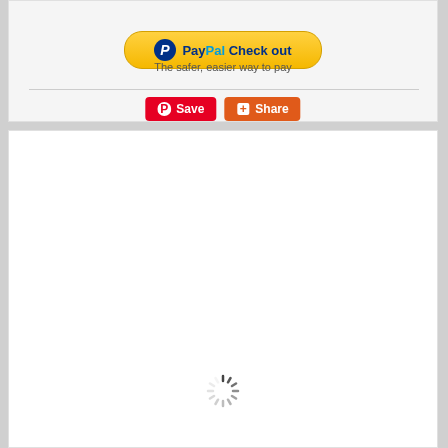[Figure (screenshot): PayPal checkout button - yellow rounded button with PayPal logo and 'Check out' text]
The safer, easier way to pay
[Figure (screenshot): Pinterest Save button (red) and Share button (orange-red)]
[Figure (screenshot): White content card with loading spinner at bottom center]